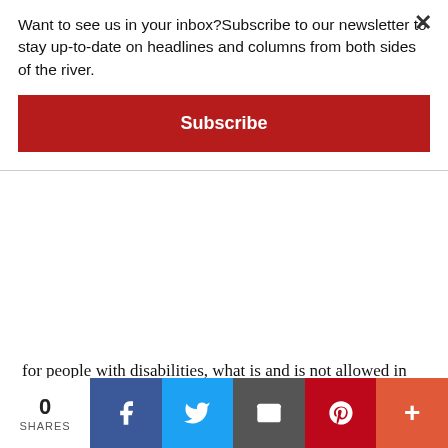Want to see us in your inbox?Subscribe to our newsletter to stay up-to-date on headlines and columns from both sides of the river.
Subscribe
for people with disabilities, what is and is not allowed in advertising, and best practices in fair housing,
For more information and to register, visit pikeforward.com/fairhousing or call Jessica Dreistadt from Hailstone Economic at 484/225-4929 or email her at jdreistadt@hailstoneeconomic.com.
Senators push bipartisan juvenile-justice reforms
0 SHARES